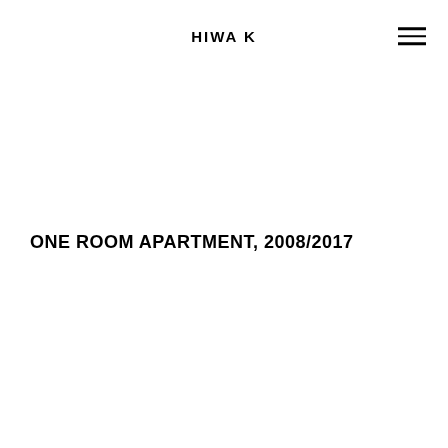HIWA K
ONE ROOM APARTMENT, 2008/2017